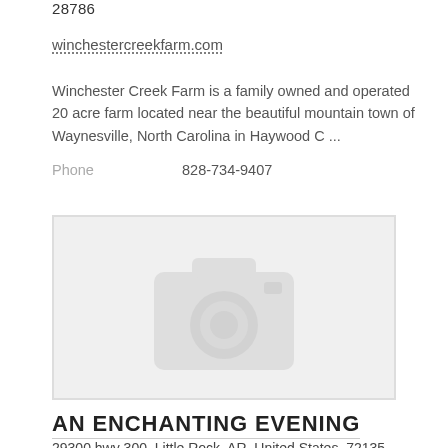28786
winchestercreekfarm.com
Winchester Creek Farm is a family owned and operated 20 acre farm located near the beautiful mountain town of Waynesville, North Carolina in Haywood C ...
Phone    828-734-9407
[Figure (photo): Placeholder image with camera icon, light gray background with border]
AN ENCHANTING EVENING
29300 hwy 300, Little Rock, AR, United States, 72135